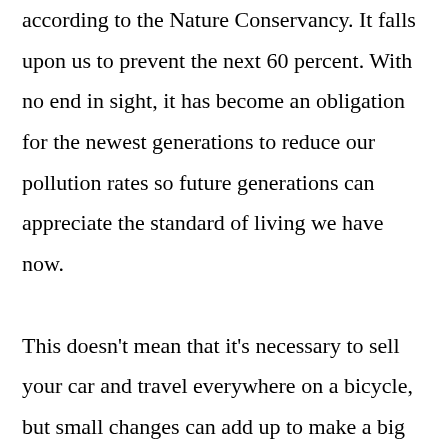according to the Nature Conservancy. It falls upon us to prevent the next 60 percent. With no end in sight, it has become an obligation for the newest generations to reduce our pollution rates so future generations can appreciate the standard of living we have now.

This doesn't mean that it's necessary to sell your car and travel everywhere on a bicycle, but small changes can add up to make a big change. If you're wondering where to start, look no further: Here are three easy ways to go greener.